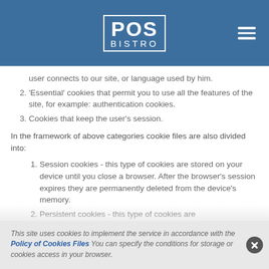POS BISTRO
user connects to our site, or language used by him.
'Essential' cookies that permit you to use all the features of the site, for example: authentication cookies.
Cookies that keep the user's session.
In the framework of above categories cookie files are also divided into:
Session cookies - this type of cookies are stored on your device until you close a browser. After the browser's session expires they are permanently deleted from the device's memory.
Persistent cookies - this type of cookies are
This site uses cookies to implement the service in accordance with the Policy of Cookies Files You can specify the conditions for storage or cookies access in your browser.